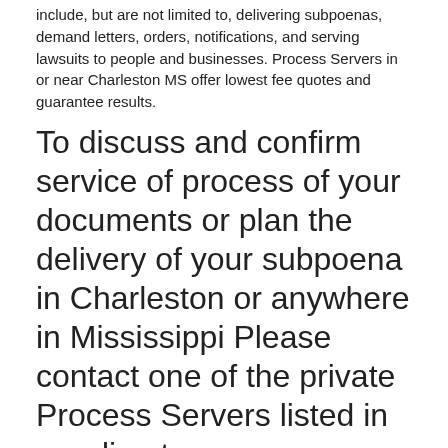include, but are not limited to, delivering subpoenas, demand letters, orders, notifications, and serving lawsuits to people and businesses. Process Servers in or near Charleston MS offer lowest fee quotes and guarantee results.
To discuss and confirm service of process of your documents or plan the delivery of your subpoena in Charleston or anywhere in Mississippi Please contact one of the private Process Servers listed in our directory.
Process Servers in Charleston MS
All listed Process Servers are experienced with all types of process serving services in and near Charleston. Legal document and subpoena delivery services are guaranteed to be on time anywhere in Tallahatchie County, Mississippi.